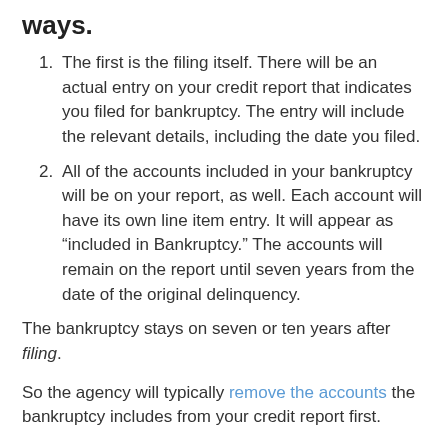ways.
The first is the filing itself. There will be an actual entry on your credit report that indicates you filed for bankruptcy. The entry will include the relevant details, including the date you filed.
All of the accounts included in your bankruptcy will be on your report, as well. Each account will have its own line item entry. It will appear as “included in Bankruptcy.” The accounts will remain on the report until seven years from the date of the original delinquency.
The bankruptcy stays on seven or ten years after filing.
So the agency will typically remove the accounts the bankruptcy includes from your credit report first.
Their delinquency dates will pretty much always precede the